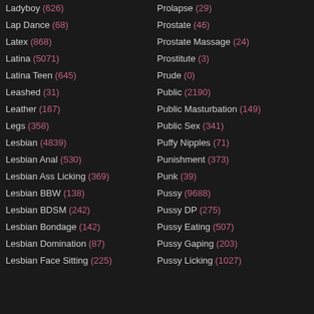Ladyboy (626)
Lap Dance (68)
Latex (868)
Latina (5071)
Latina Teen (645)
Leashed (31)
Leather (167)
Legs (358)
Lesbian (4839)
Lesbian Anal (530)
Lesbian Ass Licking (369)
Lesbian BBW (138)
Lesbian BDSM (242)
Lesbian Bondage (142)
Lesbian Domination (87)
Lesbian Face Sitting (225)
Prolapse (29)
Prostate (46)
Prostate Massage (24)
Prostitute (3)
Prude (0)
Public (2190)
Public Masturbation (149)
Public Sex (341)
Puffy Nipples (71)
Punishment (373)
Punk (39)
Pussy (9688)
Pussy DP (275)
Pussy Eating (507)
Pussy Gaping (203)
Pussy Licking (1027)